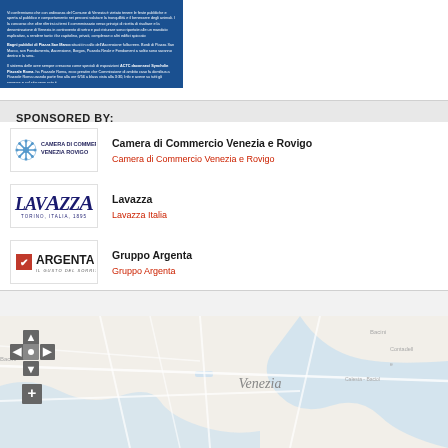[Figure (screenshot): Blue informational panel with white Italian text about a public event, featuring bullet points]
SPONSORED BY:
[Figure (logo): Camera di Commercio Venezia Rovigo logo with blue snowflake icon]
Camera di Commercio Venezia e Rovigo
Camera di Commercio Venezia e Rovigo
[Figure (logo): Lavazza logo in dark blue italic serif font with tagline TORINO, ITALIA, 1895]
Lavazza
Lavazza Italia
[Figure (logo): Argenta logo with red arrow icon and text IL GUSTO DEL SORRISO]
Gruppo Argenta
Gruppo Argenta
[Figure (map): OpenStreetMap showing Venice (Venezia) area with navigation controls and zoom button]